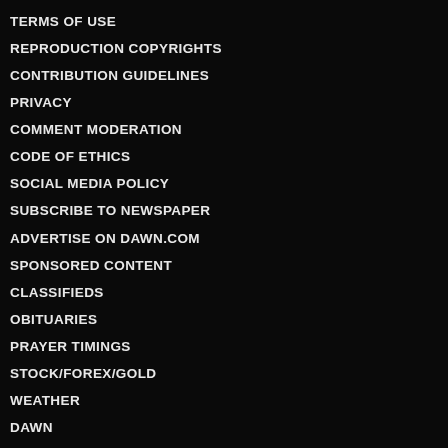TERMS OF USE
REPRODUCTION COPYRIGHTS
CONTRIBUTION GUIDELINES
PRIVACY
COMMENT MODERATION
CODE OF ETHICS
SOCIAL MEDIA POLICY
SUBSCRIBE TO NEWSPAPER
ADVERTISE ON DAWN.COM
SPONSORED CONTENT
CLASSIFIEDS
OBITUARIES
PRAYER TIMINGS
STOCK/FOREX/GOLD
WEATHER
DAWN
HERALD
AURORA
PRISM
DAWN NEWS